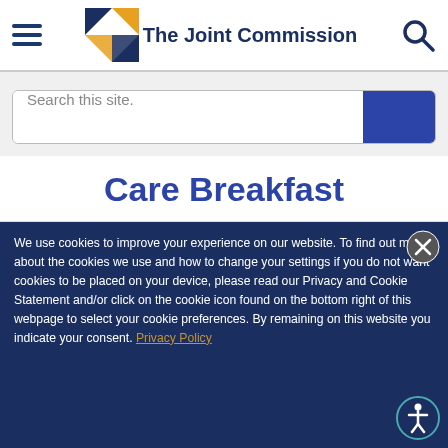[Figure (logo): The Joint Commission logo with hamburger menu icon on left and search icon on right]
[Figure (screenshot): Search bar with placeholder text 'Search this site.' and blue button on right]
Care Breakfast
We use cookies to improve your experience on our website. To find out more about the cookies we use and how to change your settings if you do not want cookies to be placed on your device, please read our Privacy and Cookie Statement and/or click on the cookie icon found on the bottom right of this webpage to select your cookie preferences. By remaining on this website you indicate your consent. Privacy Policy